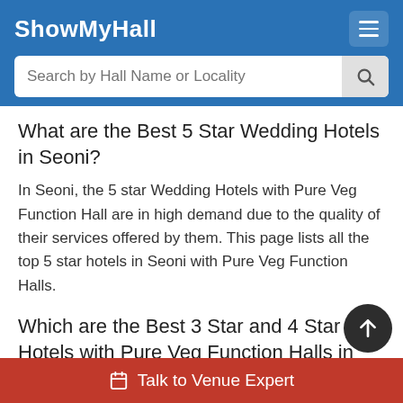ShowMyHall
What are the Best 5 Star Wedding Hotels in Seoni?
In Seoni, the 5 star Wedding Hotels with Pure Veg Function Hall are in high demand due to the quality of their services offered by them. This page lists all the top 5 star hotels in Seoni with Pure Veg Function Halls.
Which are the Best 3 Star and 4 Star Hotels with Pure Veg Function Halls in Seoni?
Most 3 Star and 4 Star Hotels in Seoni get booked early for the wedding season. Go through the best 3 Star and 4 Star Hotels with Pure Veg Function Halls in Seoni and make all your wedding dreams come true.
Which are the Popular 5 Star Hotels for wedding in Seoni?
Talk to Venue Expert